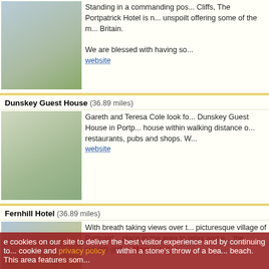[Figure (photo): Portpatrick Hotel building on cliff]
Standing in a commanding pos... Cliffs, The Portpatrick Hotel is n... unspoilt offering some of the m... Britain.

We are blessed with having so... website
Dunskey Guest House (36.89 miles)
[Figure (photo): Dunskey Guest House building]
Gareth and Teresa Cole look fo... Dunskey Guest House in Portp... house within walking distance o... restaurants, pubs and shops. W... website
Fernhill Hotel (36.89 miles)
[Figure (photo): Fernhill Hotel interior view]
With breath taking views over t... picturesque village of Portpatri... place in the area to relax and e... the superb golf ... More | visit w...
Tigh Na Mara Hotel (41.44 miles)
More Information
e cookies on our site to deliver the best visitor experience and by continuing to... cookie and privacy policy ... within a stone's throw of a bea... beach. This area features som...